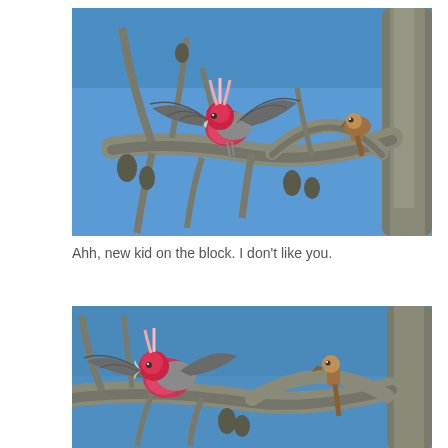[Figure (photo): A red and grey galah parrot with wings spread perched on a bare dead tree branch against a clear blue sky, with pine cones on the branches, and a smaller brown bird perched further along the branch to the right.]
Ahh, new kid on the block. I don't like you.
[Figure (photo): Partial view of the same scene from a lower angle — the red and grey galah parrot is visible on the left side of the dead tree, and the smaller brown bird appears on the right, against a blue sky background.]